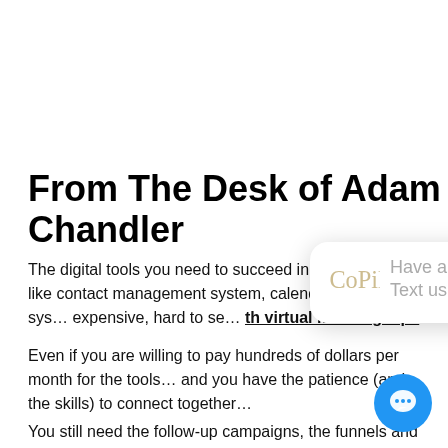From The Desk of Adam Chandler
The digital tools you need to succeed in your business like contact management system, calendar booking sys... expensive, hard to se... with virtual masking tape
Even if you are willing to pay hundreds of dollars per month for the tools... and you have the patience (and the skills) to connect together...
You still need the follow-up campaigns, the funnels and the